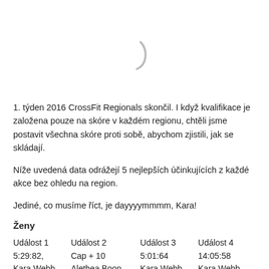[Figure (other): Loading spinner icon (partial arc/crescent shape)]
1. týden 2016 CrossFit Regionals skončil. I když kvalifikace je založena pouze na skóre v každém regionu, chtěli jsme postavit všechna skóre proti sobě, abychom zjistili, jak se skládají.
Níže uvedená data odrážejí 5 nejlepších účinkujících z každé akce bez ohledu na region.
Jediné, co musíme říct, je dayyyymmmm, Kara!
Ženy
| Událost 1 | Událost 2 | Událost 3 | Událost 4 |
| --- | --- | --- | --- |
| 5:29:82, | Cap + 10 | 5:01:64 | 14:05:58 |
| Kara Webb | Alethea Boon | Kara Webb | Kara Webb |